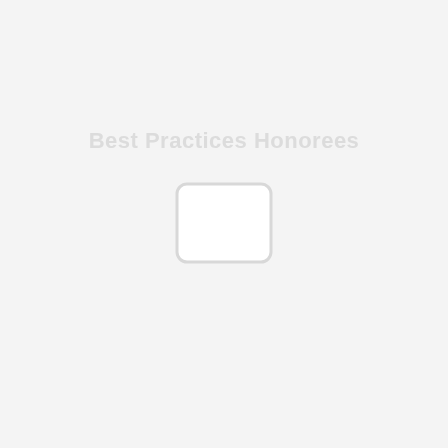Best Practices Honorees
[Figure (other): A faint placeholder image box, roughly square with rounded corners, light gray border on white background, centered below the title text.]